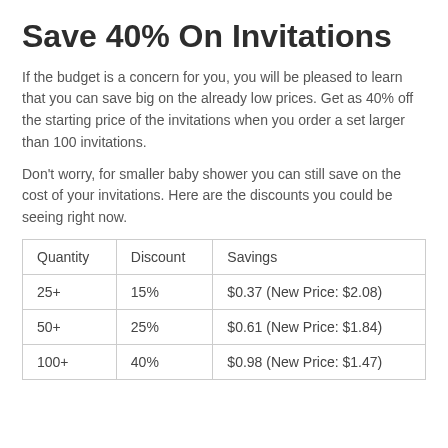Save 40% On Invitations
If the budget is a concern for you, you will be pleased to learn that you can save big on the already low prices. Get as 40% off the starting price of the invitations when you order a set larger than 100 invitations.
Don't worry, for smaller baby shower you can still save on the cost of your invitations. Here are the discounts you could be seeing right now.
| Quantity | Discount | Savings |
| --- | --- | --- |
| 25+ | 15% | $0.37 (New Price: $2.08) |
| 50+ | 25% | $0.61 (New Price: $1.84) |
| 100+ | 40% | $0.98 (New Price: $1.47) |